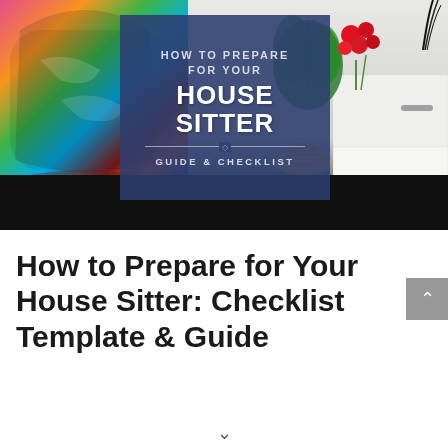[Figure (photo): A decorative image featuring a colorful patterned armchair on the left, a white dresser/drawer unit on the right with tropical plants and red flowers behind it, a dark floor, and a central blue overlay box containing the text HOW TO PREPARE FOR YOUR HOUSE SITTER GUIDE & CHECKLIST]
How to Prepare for Your House Sitter: Checklist Template & Guide